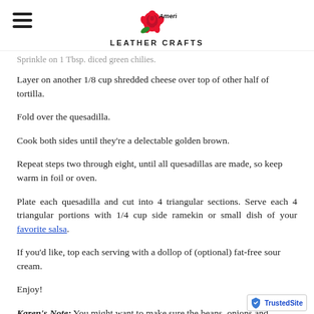American Leather Crafts
Sprinkle on 1 Tbsp. diced green chilies.
Layer on another 1/8 cup shredded cheese over top of other half of tortilla.
Fold over the quesadilla.
Cook both sides until they’re a delectable golden brown.
Repeat steps two through eight, until all quesadillas are made, so keep warm in foil or oven.
Plate each quesadilla and cut into 4 triangular sections. Serve each 4 triangular portions with 1/4 cup side ramekin or small dish of your favorite salsa.
If you’d like, top each serving with a dollop of (optional) fat-free sour cream.
Enjoy!
Karen’s Note:  You might want to make sure the beans, onions and zucchini are heated in the microwave and drained of juices, before adding them to the quesadilla. This will definitely help the cheese melt faster. *You can also use turkey bacon or turkey sausage pieces in place of the me